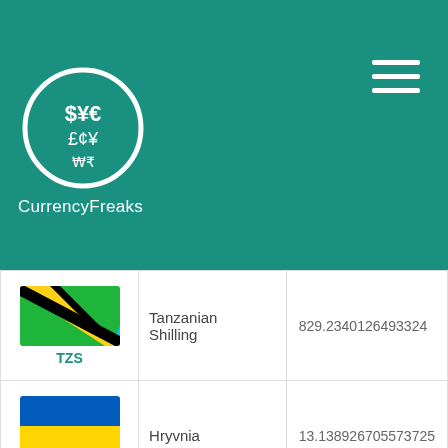CurrencyFreaks
| Currency Code / Flag | Currency Name | Value |
| --- | --- | --- |
| TZS | Tanzanian Shilling | 829.2340126493324 |
| UAH | Hryvnia | 13.138926705573725 |
| UGX | Uganda Shilling | 1353.7644989997436 |
| USD | US Dollar | 0.354 |